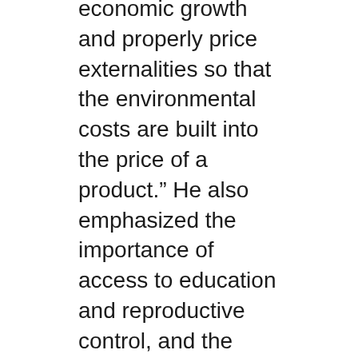economic growth and properly price externalities so that the environmental costs are built into the price of a product.” He also emphasized the importance of access to education and reproductive control, and the need to rein in corporate lobbying and enact campaign finance reform so politicians serve citizens’ needs.
“Ultimately,” Blumstein added, “we must focus on making equity and well-being society’s goals — not the constant accumulation of more junk.”
In their paper, the UCLA scientist and his 16 co-authors “contend that only a realistic appreciation of the colossal challenges facing the international community might allow it to chart a less-ravaged future.”